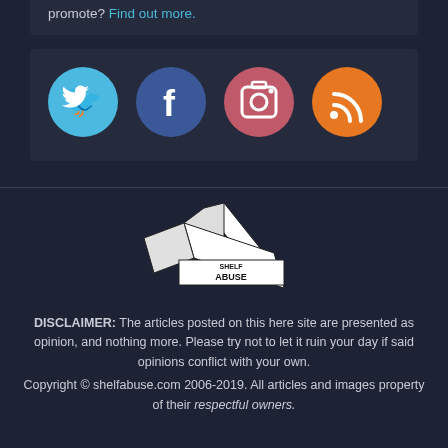promote? Find out more.
[Figure (infographic): Four social media icons in circles: Twitter (light blue), Facebook (dark blue), Instagram (red/pink), RSS (orange)]
[Figure (logo): Shelf Abuse logo — stylized open book with 'SHELF ABUSE' text]
DISCLAIMER: The articles posted on this here site are presented as opinion, and nothing more. Please try not to let it ruin your day if said opinions conflict with your own.
Copyright © shelfabuse.com 2006-2019. All articles and images property of their respectful owners.